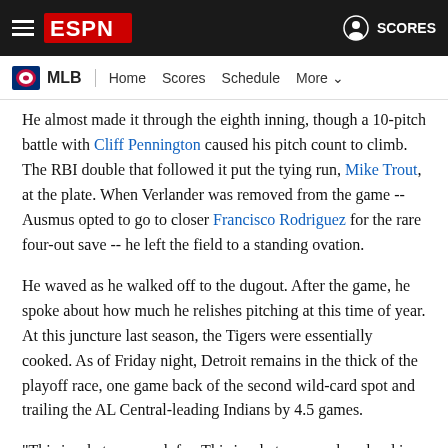ESPN - MLB - Home Scores Schedule More
He almost made it through the eighth inning, though a 10-pitch battle with Cliff Pennington caused his pitch count to climb. The RBI double that followed it put the tying run, Mike Trout, at the plate. When Verlander was removed from the game -- Ausmus opted to go to closer Francisco Rodriguez for the rare four-out save -- he left the field to a standing ovation.
He waved as he walked off to the dugout. After the game, he spoke about how much he relishes pitching at this time of year. At this juncture last season, the Tigers were essentially cooked. As of Friday night, Detroit remains in the thick of the playoff race, one game back of the second wild-card spot and trailing the AL Central-leading Indians by 4.5 games.
"This is what you work for. This is what you work so hard in